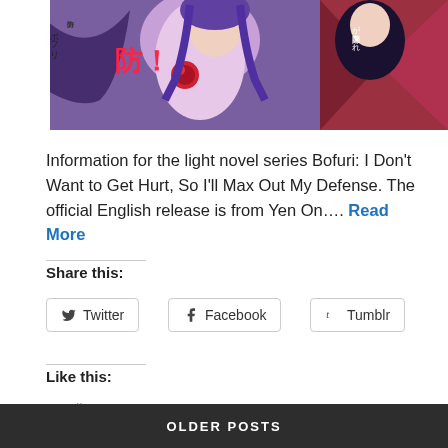[Figure (illustration): Cropped manga/anime style illustration showing characters with purple hair and bat wings, with Japanese text visible. Part of a light novel cover for Bofuri series.]
Information for the light novel series Bofuri: I Don't Want to Get Hurt, So I'll Max Out My Defense. The official English release is from Yen On…. Read More
Share this:
Twitter
Facebook
Tumblr
Reddit
Like this:
Loading...
March 3, 2021   JustusRStone   2 Comments
OLDER POSTS